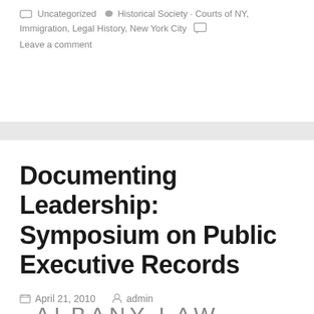Uncategorized  ♥  Historical Society · Courts of NY, Immigration, Legal History, New York City  💬  Leave a comment
Documenting Leadership: Symposium on Public Executive Records
April 21, 2010   admin
[Figure (logo): Albany Law School logo — white text on black background]
The New York State Archives Partnership Trust and the Albany Law School's Government Law Center have joined forces